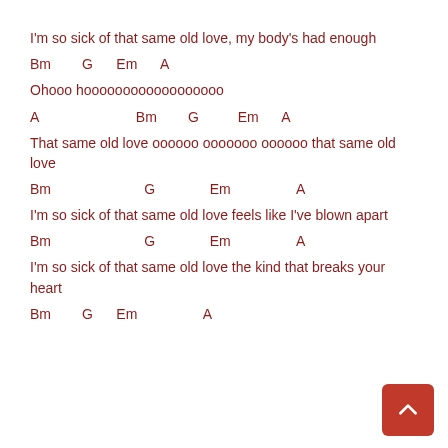I'm so sick of that same old love, my body's had enough
Bm        G      Em      A
Ohooo hoooooooooooooooooo
A                         Bm        G          Em      A
That same old love oooooo ooooooo oooooo that same old love
Bm                        G              Em                 A
I'm so sick of that same old love feels like I've blown apart
Bm                        G              Em                 A
I'm so sick of that same old love the kind that breaks your heart
Bm        G      Em                 A